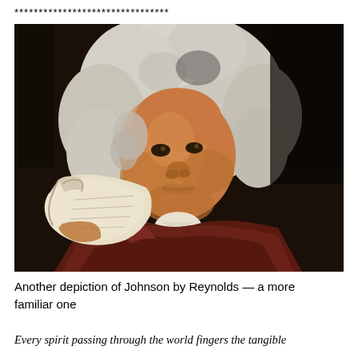********************************
[Figure (photo): Oil painting portrait of Samuel Johnson by Sir Joshua Reynolds, depicting Johnson reading a document or newspaper close to his face, wearing a white powdered wig and dark maroon coat, against a dark background.]
Another depiction of Johnson by Reynolds — a more familiar one
Every spirit passing through the world fingers the tangible